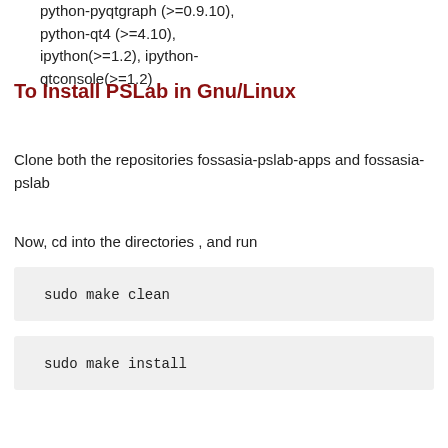python-pyqtgraph (>=0.9.10), python-qt4 (>=4.10), ipython(>=1.2), ipython-qtconsole(>=1.2)
To Install PSLab in Gnu/Linux
Clone both the repositories fossasia-pslab-apps and fossasia-pslab
Now, cd into the directories , and run
sudo make clean
sudo make install
Now you can run Experiments.py from terminal
Without the device connected to the pc you will first get the following flash screen.